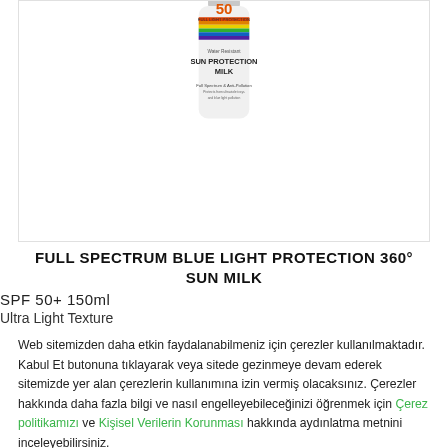[Figure (photo): White sunscreen bottle labeled 'FULL LIGHT PROTECTION 50 SUN PROTECTION MILK Water Resistant' with colorful spectrum stripes near the top]
FULL SPECTRUM BLUE LIGHT PROTECTION 360° SUN MILK
SPF 50+ 150ml
Ultra Light Texture
Web sitemizden daha etkin faydalanabilmeniz için çerezler kullanılmaktadır. Kabul Et butonuna tıklayarak veya sitede gezinmeye devam ederek sitemizde yer alan çerezlerin kullanımına izin vermiş olacaksınız. Çerezler hakkında daha fazla bilgi ve nasıl engelleyebileceğinizi öğrenmek için Çerez politikamızı ve Kişisel Verilerin Korunması hakkında aydınlatma metnini inceleyebilirsiniz.
We use cookies to analyse the traffic of our site, by clicking on "Accept" or keeping navigating the site you consent to the use of such cookies.
Kabul Et / Accept